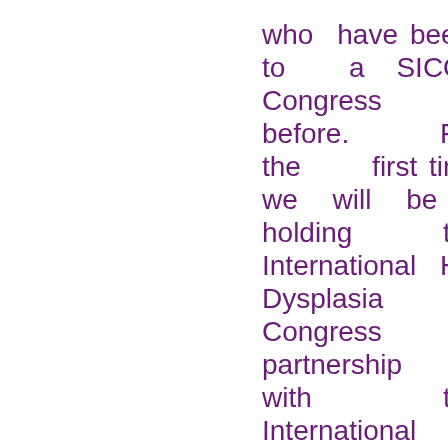who have been to a SICOT Congress before. For the first time we will be holding the International Hip Dysplasia Congress in partnership with the International